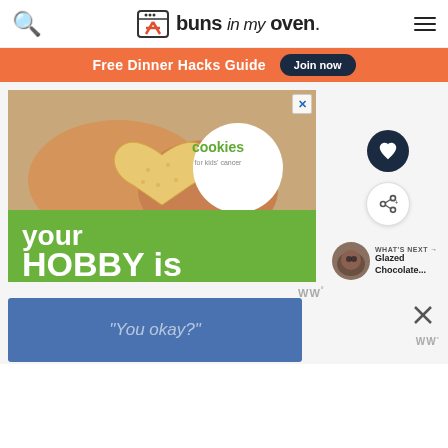buns in my oven.
Free Dinner Hacks Guide  Join now
[Figure (illustration): Advertisement for Cookies for Kids Cancer: hands holding a heart-shaped cookie, with text 'your HOBBY is their HOPE' and 'LEARN WHY' on a green background with the cookies for kids cancer logo]
WHAT'S NEXT → Glazed Chocolate...
[Figure (screenshot): Bottom advertisement banner with blue background showing text 'You okay?' with a WW (Weight Watchers) logo and a close button]